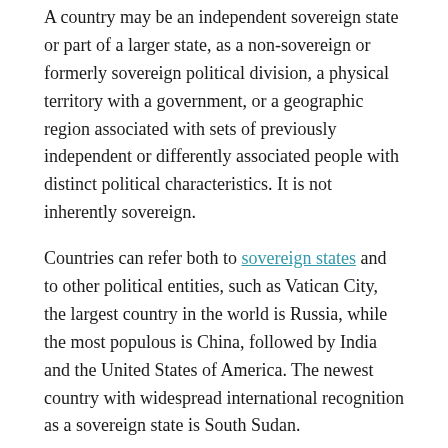A country may be an independent sovereign state or part of a larger state, as a non-sovereign or formerly sovereign political division, a physical territory with a government, or a geographic region associated with sets of previously independent or differently associated people with distinct political characteristics. It is not inherently sovereign.
Countries can refer both to sovereign states and to other political entities, such as Vatican City, the largest country in the world is Russia, while the most populous is China, followed by India and the United States of America. The newest country with widespread international recognition as a sovereign state is South Sudan.
The word country comes from Old French which derives from Vulgar Latin (terra) from contra (“against, opposite”). It most likely entered the English language after the Franco-Norman invasion during the 11th century.
A version of “country” can be found in the modern French